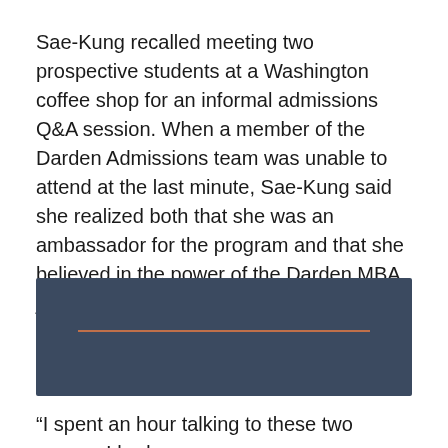Sae-Kung recalled meeting two prospective students at a Washington coffee shop for an informal admissions Q&A session. When a member of the Darden Admissions team was unable to attend at the last minute, Sae-Kung said she realized both that she was an ambassador for the program and that she believed in the power of the Darden MBA journey.
[Figure (other): Dark navy blue rectangular box with a horizontal orange/rust-colored line across the middle]
“I spent an hour talking to these two women I had